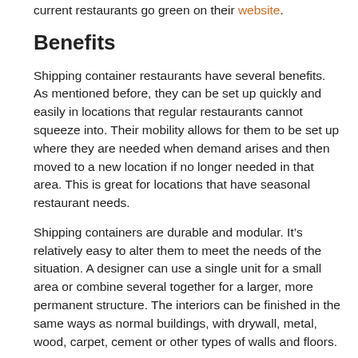current restaurants go green on their website.
Benefits
Shipping container restaurants have several benefits. As mentioned before, they can be set up quickly and easily in locations that regular restaurants cannot squeeze into. Their mobility allows for them to be set up where they are needed when demand arises and then moved to a new location if no longer needed in that area. This is great for locations that have seasonal restaurant needs.
Shipping containers are durable and modular. It’s relatively easy to alter them to meet the needs of the situation. A designer can use a single unit for a small area or combine several together for a larger, more permanent structure. The interiors can be finished in the same ways as normal buildings, with drywall, metal, wood, carpet, cement or other types of walls and floors.
If the shipping containers were previously used, they have the added benefit of being recycled into a new purpose rather than sitting around collecting dust. These days, running a business with environmentally-conscious methods is a huge bonus, helping the earth while drawing...